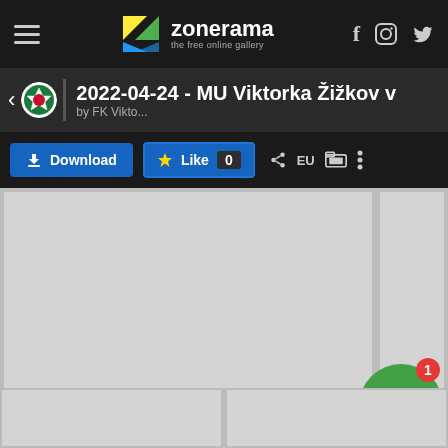zonerama – the free online gallery
2022-04-24 - MU Viktorka Žižkov v... by FK Vikto...
Download | Like 0 | EU
[Figure (screenshot): Gallery grid showing image thumbnails in light grey placeholders, with a green chat widget in the bottom right corner showing a notification badge of 1]